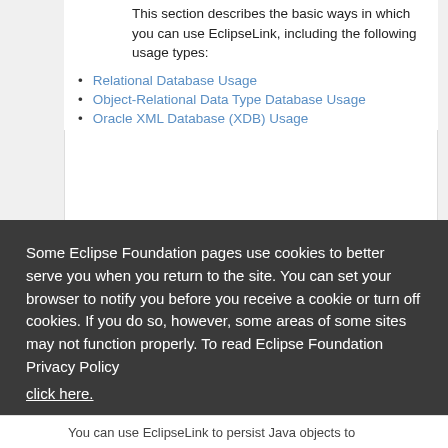This section describes the basic ways in which you can use EclipseLink, including the following usage types:
Relational Database Usage
Object-Relational Data Type Database Usage
Oracle XML Database (XDB) Usage
Some Eclipse Foundation pages use cookies to better serve you when you return to the site. You can set your browser to notify you before you receive a cookie or turn off cookies. If you do so, however, some areas of some sites may not function properly. To read Eclipse Foundation Privacy Policy
click here.
Decline
Allow cookies
You can use EclipseLink to persist Java objects to